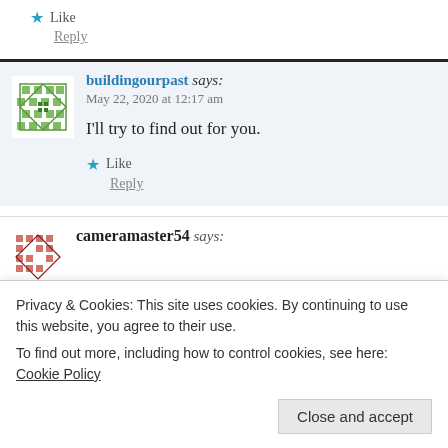★ Like
Reply
buildingourpast says: May 22, 2020 at 12:17 am
I'll try to find out for you.
★ Like
Reply
cameramaster54 says:
Privacy & Cookies: This site uses cookies. By continuing to use this website, you agree to their use.
To find out more, including how to control cookies, see here: Cookie Policy
Close and accept